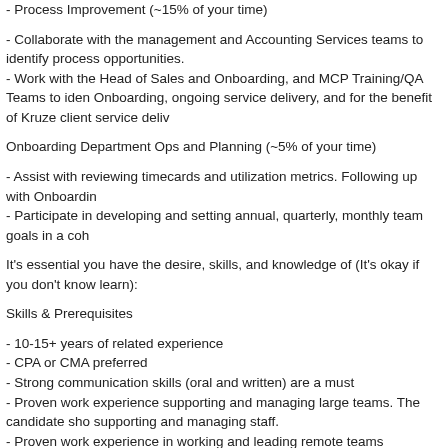- Process Improvement (~15% of your time)
- Collaborate with the management and Accounting Services teams to identify process opportunities.
- Work with the Head of Sales and Onboarding, and MCP Training/QA Teams to identify improvements for Onboarding, ongoing service delivery, and for the benefit of Kruze client service delivery.
Onboarding Department Ops and Planning (~5% of your time)
- Assist with reviewing timecards and utilization metrics. Following up with Onboarding managers.
- Participate in developing and setting annual, quarterly, monthly team goals in a cohesive way.
It's essential you have the desire, skills, and knowledge of (It's okay if you don't know everything, we'll learn):
Skills & Prerequisites
- 10-15+ years of related experience
- CPA or CMA preferred
- Strong communication skills (oral and written) are a must
- Proven work experience supporting and managing large teams. The candidate should have demonstrated experience supporting and managing staff.
- Proven work experience in working and leading remote teams
- Strong working knowledge of leading accounting general ledger and supporting software
- Excellent communication and leadership skills
- Excellent organizational and time management skills